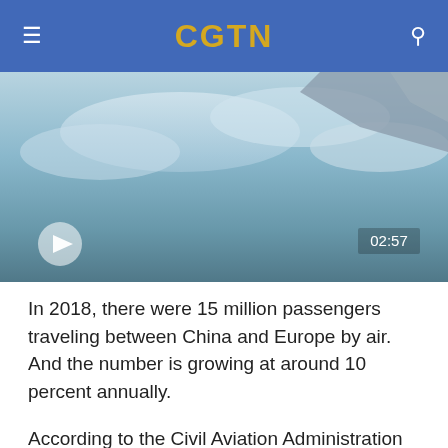CGTN
[Figure (screenshot): Video thumbnail showing an airplane wing against a cloudy sky, with a play button on the lower left and a duration stamp '02:57' on the lower right.]
In 2018, there were 15 million passengers traveling between China and Europe by air. And the number is growing at around 10 percent annually.
According to the Civil Aviation Administration of China (CAAC), more than 100 new air routes have been opened between China and Europe since 2017.
In 2019, four new Chinese airlines and six more cities in China connected to Europe.